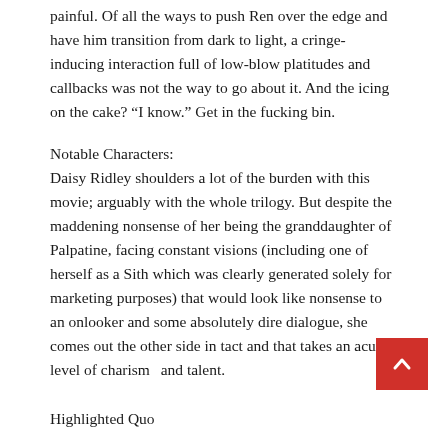painful. Of all the ways to push Ren over the edge and have him transition from dark to light, a cringe-inducing interaction full of low-blow platitudes and callbacks was not the way to go about it. And the icing on the cake? “I know.” Get in the fucking bin.
Notable Characters:
Daisy Ridley shoulders a lot of the burden with this movie; arguably with the whole trilogy. But despite the maddening nonsense of her being the granddaughter of Palpatine, facing constant visions (including one of herself as a Sith which was clearly generated solely for marketing purposes) that would look like nonsense to an onlooker and some absolutely dire dialogue, she comes out the other side in tact and that takes an acute level of charisma and talent.
Highlighted Quotes